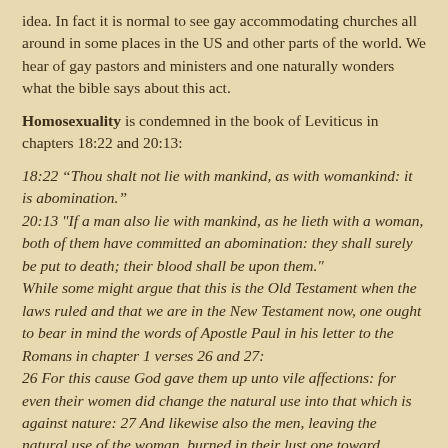idea. In fact it is normal to see gay accommodating churches all around in some places in the US and other parts of the world. We hear of gay pastors and ministers and one naturally wonders what the bible says about this act.
Homosexuality is condemned in the book of Leviticus in chapters 18:22 and 20:13:
18:22 “Thou shalt not lie with mankind, as with womankind: it is abomination.”
20:13 "If a man also lie with mankind, as he lieth with a woman, both of them have committed an abomination: they shall surely be put to death; their blood shall be upon them."
While some might argue that this is the Old Testament when the laws ruled and that we are in the New Testament now, one ought to bear in mind the words of Apostle Paul in his letter to the Romans in chapter 1 verses 26 and 27:
26 For this cause God gave them up unto vile affections: for even their women did change the natural use into that which is against nature: 27 And likewise also the men, leaving the natural use of the woman, burned in their lust one toward another; men with men working that which is unseemly, and receiving in themselves that